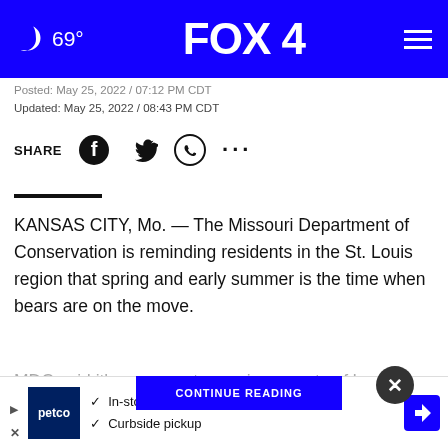🌙 69° FOX 4
Posted: May 25, 2022 / 07:12 PM CDT
Updated: May 25, 2022 / 08:43 PM CDT
SHARE
KANSAS CITY, Mo. — The Missouri Department of Conservation is reminding residents in the St. Louis region that spring and early summer is the time when bears are on the move.
MDC said it's common to receive reports of bears in counties like J...gto...d ...
[Figure (other): CONTINUE READING blue banner button with close X button]
[Figure (other): Petco advertisement banner: In-store shopping, Curbside pickup]